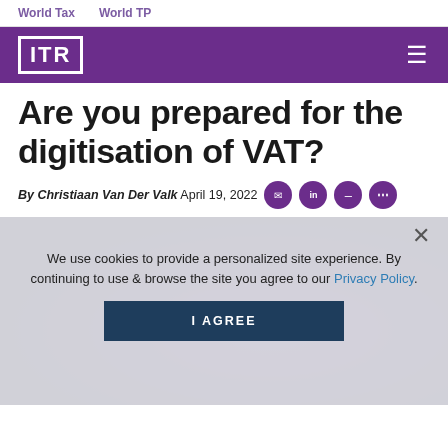World Tax   World TP
[Figure (logo): ITR logo in white on purple background with hamburger menu icon]
Are you prepared for the digitisation of VAT?
By Christiaan Van Der Valk April 19, 2022
[Figure (screenshot): Cookie consent overlay on top of a dark network/globe image. Text: We use cookies to provide a personalized site experience. By continuing to use & browse the site you agree to our Privacy Policy. Button: I AGREE]